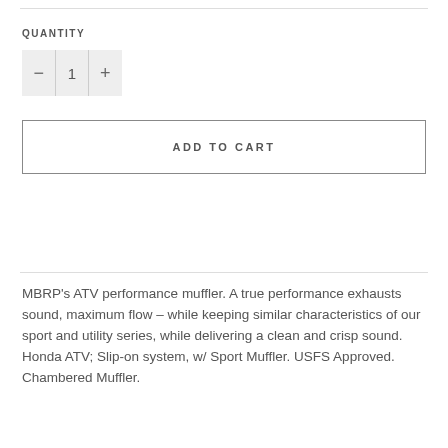QUANTITY
[Figure (other): Quantity selector control showing minus button, number 1, and plus button]
ADD TO CART
MBRP's ATV performance muffler. A true performance exhausts sound, maximum flow – while keeping similar characteristics of our sport and utility series, while delivering a clean and crisp sound.
Honda ATV; Slip-on system, w/ Sport Muffler. USFS Approved.
Chambered Muffler.